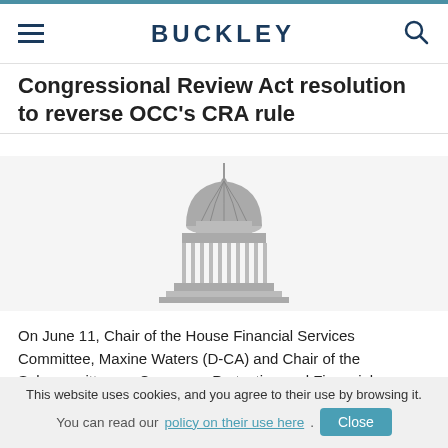BUCKLEY
Congressional Review Act resolution to reverse OCC's CRA rule
[Figure (illustration): Gray Capitol building dome icon]
On June 11, Chair of the House Financial Services Committee, Maxine Waters (D-CA) and Chair of the Subcommittee on Consumer Protection and Financial Institutions, Gregory Meeks (D-NY), introduced a Congressional Review Act resolution to reverse the OCC's final rule to modernize the regulatory framework implementing the Community Reinvestment Act (CRA). The OCC's final rule (covered
This website uses cookies, and you agree to their use by browsing it. You can read our policy on their use here. Close